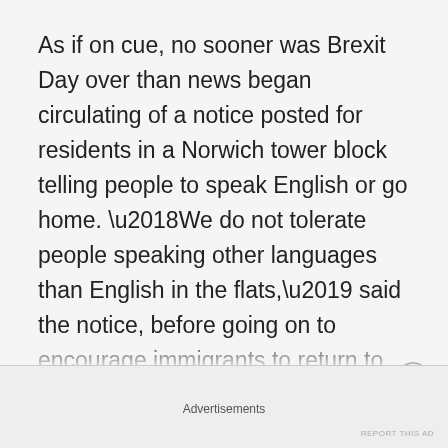As if on cue, no sooner was Brexit Day over than news began circulating of a notice posted for residents in a Norwich tower block telling people to speak English or go home. ‘We do not tolerate people speaking other languages than English in the flats,’ said the notice, before going on to encourage immigrants to return to their own countries and free up housing for white English-speaking British people. Monika Wiśniewska, a Polish author living in England, took to social media to describe how Polish people were now...
Advertisements